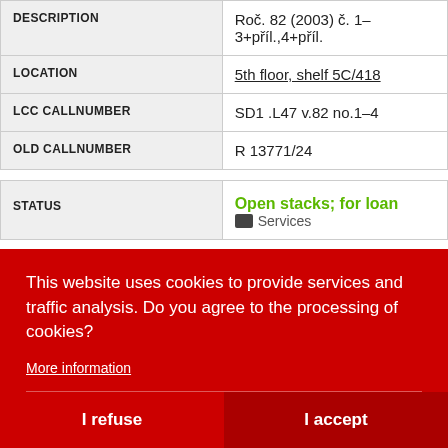| Field | Value |
| --- | --- |
| DESCRIPTION | Roč. 82 (2003) č. 1–3+příl.,4+příl. |
| LOCATION | 5th floor, shelf 5C/418 |
| LCC CALLNUMBER | SD1 .L47 v.82 no.1–4 |
| OLD CALLNUMBER | R 13771/24 |
| STATUS | Open stacks; for loan
[icon] Services |
This website uses cookies to provide services and traffic analysis. Do you agree to the processing of cookies?
More information
I refuse
I accept